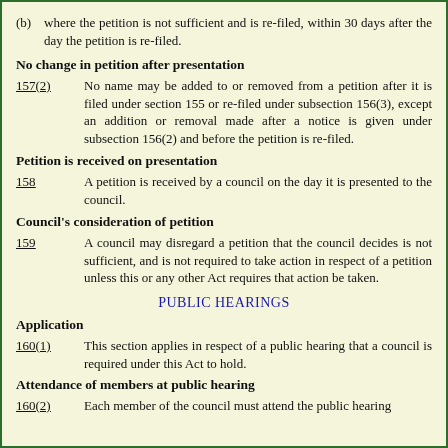(b) where the petition is not sufficient and is re-filed, within 30 days after the day the petition is re-filed.
No change in petition after presentation
157(2)     No name may be added to or removed from a petition after it is filed under section 155 or re-filed under subsection 156(3), except an addition or removal made after a notice is given under subsection 156(2) and before the petition is re-filed.
Petition is received on presentation
158        A petition is received by a council on the day it is presented to the council.
Council's consideration of petition
159        A council may disregard a petition that the council decides is not sufficient, and is not required to take action in respect of a petition unless this or any other Act requires that action be taken.
PUBLIC HEARINGS
Application
160(1)     This section applies in respect of a public hearing that a council is required under this Act to hold.
Attendance of members at public hearing
160(2)     Each member of the council must attend the public hearing